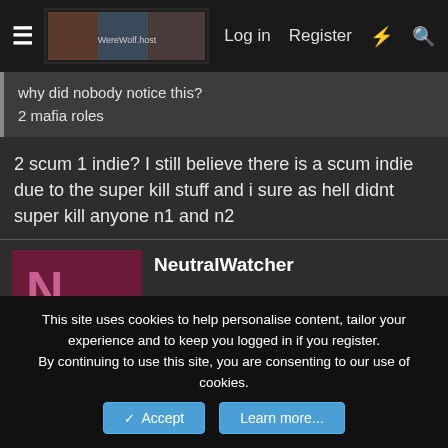≡  [logo]  Log in  Register  ⚡  🔍
why did nobody notice this?
2 mafia roles
2 scum 1 indie? I still believe there is a scum indie due to the super kill stuff and i sure as hell didnt super kill anyone n1 and n2
NeutralWatcher
This site uses cookies to help personalise content, tailor your experience and to keep you logged in if you register.
By continuing to use this site, you are consenting to our use of cookies.